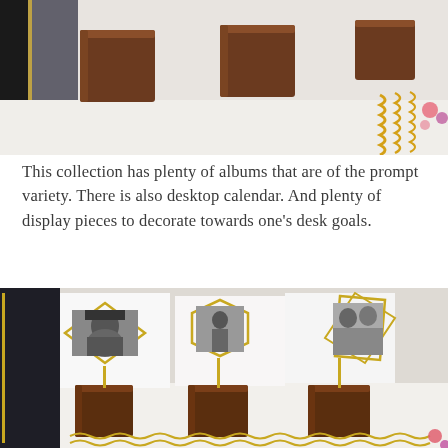[Figure (photo): Top partial photo showing brown wooden cube stands on a white surface with a dark planner/notebook and gold accents visible at the edges.]
This collection has plenty of albums that are of the prompt variety. There is also desktop calendar. And plenty of display pieces to decorate towards one's desk goals.
[Figure (photo): Three geometric gold wire photo holders with black-and-white photographs, each mounted on a dark brown wooden cube base, displayed on a white shelf. A dark planner is visible on the left and a spiral-bound item at the bottom.]